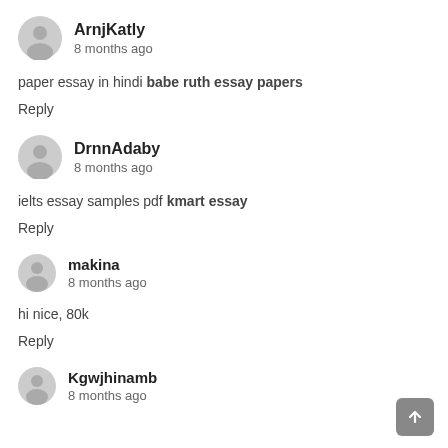ArnjKatly — 8 months ago
paper essay in hindi babe ruth essay papers
Reply
DrnnAdaby — 8 months ago
ielts essay samples pdf kmart essay
Reply
makina — 8 months ago
hi nice, 80k
Reply
Kgwjhinamb — 8 months ago